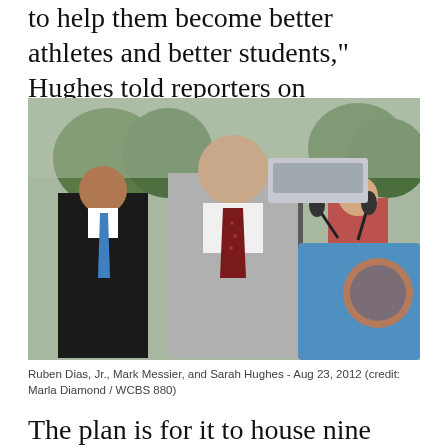to help them become better athletes and better students," Hughes told reporters on Thursday.
[Figure (photo): Press conference photo showing Ruben Dias Jr., Mark Messier, and Sarah Hughes standing outdoors at a podium, Aug 23, 2012]
Ruben Dias, Jr., Mark Messier, and Sarah Hughes - Aug 23, 2012 (credit: Marla Diamond / WCBS 880)
The plan is for it to house nine regulation-size